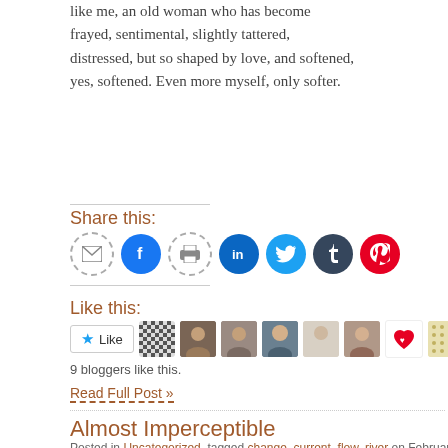like me, an old woman who has become frayed, sentimental, slightly tattered, distressed, but so shaped by love, and softened, yes, softened. Even more myself, only softer.
Share this:
[Figure (infographic): Social share buttons: email, facebook, print, linkedin, twitter, tumblr, pinterest]
Like this:
[Figure (infographic): Like button with 9 blogger avatars]
9 bloggers like this.
Read Full Post »
Almost Imperceptible
Posted in Uncategorized, tagged change, current, flow, river on February 9, 2022| 6 Co